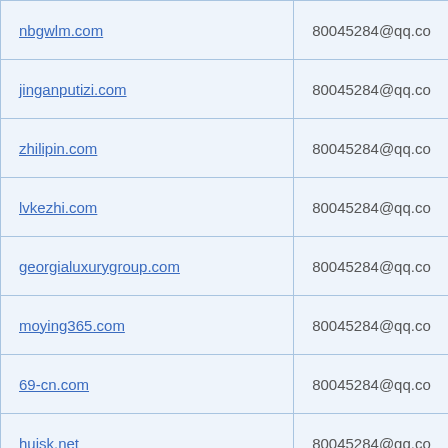| Domain | Email |
| --- | --- |
| nbgwlm.com | 80045284@qq.co |
| jinganputizi.com | 80045284@qq.co |
| zhilipin.com | 80045284@qq.co |
| lvkezhi.com | 80045284@qq.co |
| georgialuxurygroup.com | 80045284@qq.co |
| moying365.com | 80045284@qq.co |
| 69-cn.com | 80045284@qq.co |
| huisk.net | 80045284@qq.co |
| renvw.com | 80045284@qq.co |
| bldlsw.com | 80045284@qq.co |
| sdytcc.com | 80045284@qq.co |